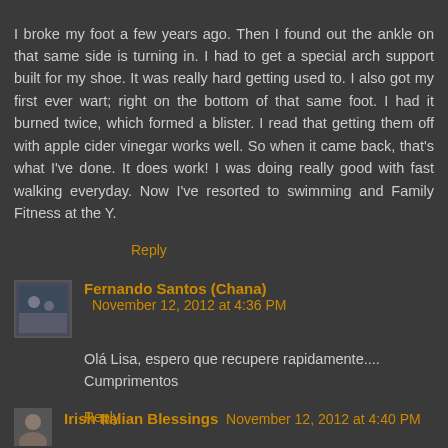I broke my foot a few years ago. Then I found out the ankle on that same side is turning in. I had to get a special arch support built for my shoe. It was really hard getting used to. I also got my first ever wart; right on the bottom of that same foot. I had it burned twice, which formed a blister. I read that getting them off with apple cider vinegar works well. So when it came back, that's what I've done. It does work! I was doing really good with fast walking everyday. Now I've resorted to swimming and Family Fitness at the Y.
Reply
Fernando Santos (Chana) November 12, 2012 at 4:36 PM
Olá Lisa, espero que recupere rapidamente.... Cumprimentos
Reply
Irish Italian Blessings November 12, 2012 at 4:40 PM